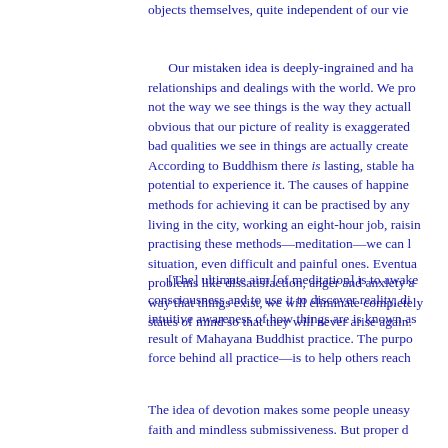objects themselves, quite independent of our vie
Our mistaken idea is deeply-ingrained and ha relationships and dealings with the world. We pro not the way we see things is the way they actuall obvious that our picture of reality is exaggerated bad qualities we see in things are actually create According to Buddhism there is lasting, stable ha potential to experience it. The causes of happine methods for achieving it can be practised by any living in the city, working an eight-hour job, raisin practising these methods—meditation—we can l situation, even difficult and painful ones. Eventua problems like dissatisfaction, anger and anxiety a way that things exist, we will eliminate completely states of mind so that they will never arise again.
[The] ultimate aim [of meditation] is to awake consciousness and to use it to discover reality, di intuitive awareness of how things are is known as result of Mahayana Buddhist practice. The purpo force behind all practice—is to help others reach
The idea of devotion makes some people uneasy faith and mindless submissiveness. But proper d